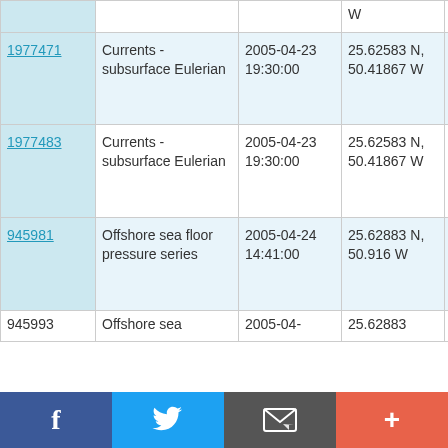| ID | Type | Date | Location | Vessel |
| --- | --- | --- | --- | --- |
|  | W |  | W | CD170 |
| 1977471 | Currents - subsurface Eulerian | 2005-04-23 19:30:00 | 25.62583 N, 50.41867 W | RRS Charles Darwin CD170 |
| 1977483 | Currents - subsurface Eulerian | 2005-04-23 19:30:00 | 25.62583 N, 50.41867 W | RRS Charles Darwin CD170 |
| 945981 | Offshore sea floor pressure series | 2005-04-24 14:41:00 | 25.62883 N, 50.916 W | RRS Charles Darwin CD170 |
| 945993 | Offshore sea... | 2005-04-... | 25.62883... | RRS... |